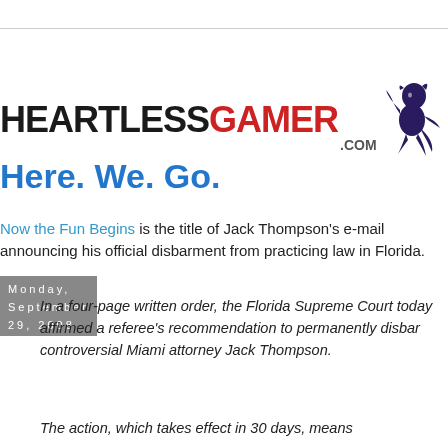[Figure (logo): HeartlessGamer.com logo with mascot figure (dark demon/creature) on the right]
Monday, September 29, 2008
Here. We. Go.
Now the Fun Begins is the title of Jack Thompson's e-mail announcing his official disbarment from practicing law in Florida.
In a four-page written order, the Florida Supreme Court today affirmed a referee's recommendation to permanently disbar controversial Miami attorney Jack Thompson.
The action, which takes effect in 30 days, means